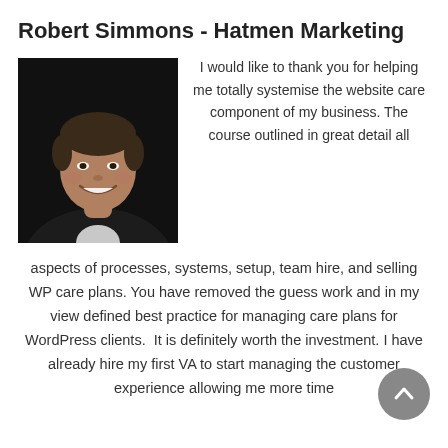Robert Simmons - Hatmen Marketing
[Figure (photo): Professional headshot of a man in a dark suit smiling against a dark background]
I would like to thank you for helping me totally systemise the website care component of my business. The course outlined in great detail all aspects of processes, systems, setup, team hire, and selling WP care plans. You have removed the guess work and in my view defined best practice for managing care plans for WordPress clients.  It is definitely worth the investment. I have already hire my first VA to start managing the customer experience allowing me more time